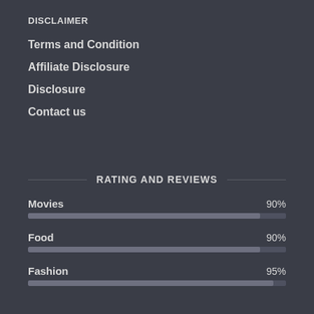DISCLAIMER
Terms and Condition
Affiliate Disclosure
Disclosure
Contact us
RATING AND REVIEWS
[Figure (bar-chart): Rating and Reviews]